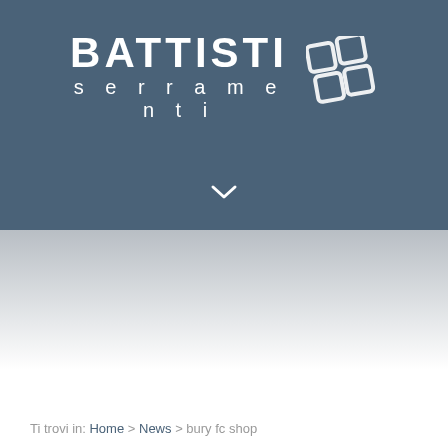[Figure (logo): Battisti Serramenti logo with company name and window/grid icon on dark blue-grey header background]
Ti trovi in: Home > News > bury fc shop